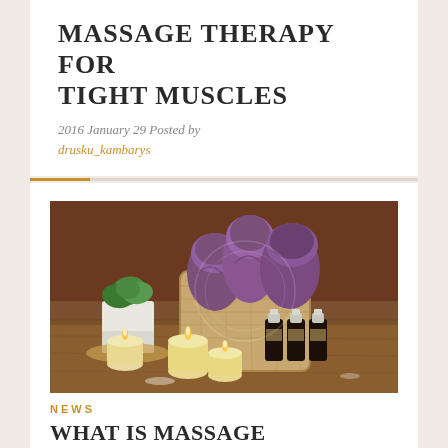MASSAGE THERAPY FOR TIGHT MUSCLES
2016 January 29 Posted by drusku_kambarys
[Figure (photo): Spa/massage therapy scene: purple rolled towels in a burlap basket, small dark essential oil bottles, lit candles, a small green plant in a white pot, all arranged on a rustic wooden surface with warm brown background.]
NEWS
WHAT IS MASSAGE